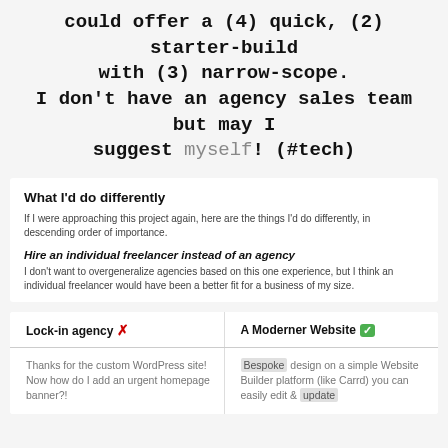could offer a (4) quick, (2) starter-build with (3) narrow-scope.
I don't have an agency sales team but may I suggest myself! (#tech)
What I'd do differently
If I were approaching this project again, here are the things I'd do differently, in descending order of importance.
Hire an individual freelancer instead of an agency
I don't want to overgeneralize agencies based on this one experience, but I think an individual freelancer would have been a better fit for a business of my size.
| Lock-in agency ✗ | A Moderner Website ✓ |
| --- | --- |
| Thanks for the custom WordPress site! Now how do I add an urgent homepage banner?! | Bespoke design on a simple Website Builder platform (like Carrd) you can easily edit & update |